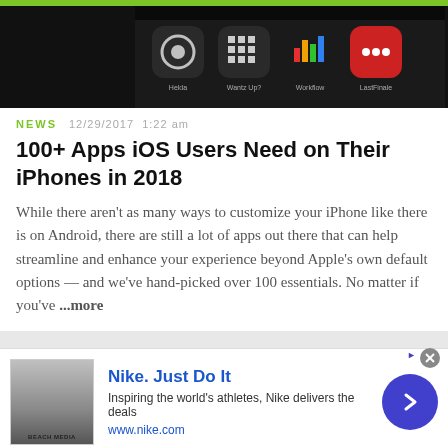[Figure (screenshot): Screenshot of iPhone home screen showing app icons: Helda, Wantz Up?, Workflow, LastFinale on dark background]
NEWS   12/29/2017  1:22 am
100+ Apps iOS Users Need on Their iPhones in 2018
While there aren't as many ways to customize your iPhone like there is on Android, there are still a lot of apps out there that can help streamline and enhance your experience beyond Apple's own default options — and we've hand-picked over 100 essentials. No matter if you've ...more
[Figure (photo): Close-up photo of a neon or LED lit sign showing letters, dark background]
[Figure (screenshot): Nike advertisement banner: Nike. Just Do It. Inspiring the world's athletes, Nike delivers the deals. www.nike.com]